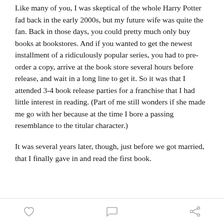Like many of you, I was skeptical of the whole Harry Potter fad back in the early 2000s, but my future wife was quite the fan. Back in those days, you could pretty much only buy books at bookstores. And if you wanted to get the newest installment of a ridiculously popular series, you had to pre-order a copy, arrive at the book store several hours before release, and wait in a long line to get it. So it was that I attended 3-4 book release parties for a franchise that I had little interest in reading. (Part of me still wonders if she made me go with her because at the time I bore a passing resemblance to the titular character.)
It was several years later, though, just before we got married, that I finally gave in and read the first book.
heart icon | comment icon | share icon